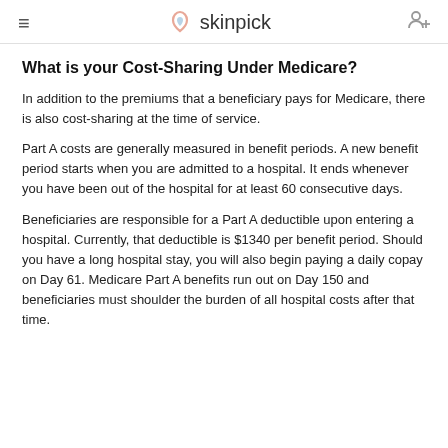skinpick
What is your Cost-Sharing Under Medicare?
In addition to the premiums that a beneficiary pays for Medicare, there is also cost-sharing at the time of service.
Part A costs are generally measured in benefit periods. A new benefit period starts when you are admitted to a hospital. It ends whenever you have been out of the hospital for at least 60 consecutive days.
Beneficiaries are responsible for a Part A deductible upon entering a hospital. Currently, that deductible is $1340 per benefit period. Should you have a long hospital stay, you will also begin paying a daily copay on Day 61. Medicare Part A benefits run out on Day 150 and beneficiaries must shoulder the burden of all hospital costs after that time.